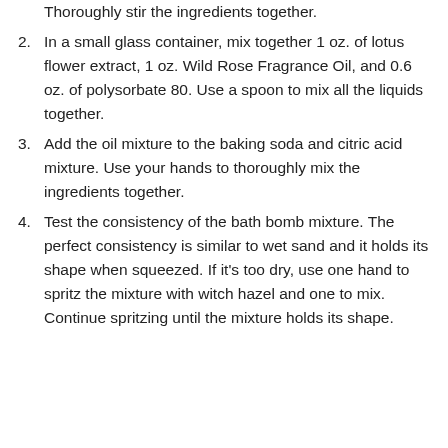Thoroughly stir the ingredients together.
In a small glass container, mix together 1 oz. of lotus flower extract, 1 oz. Wild Rose Fragrance Oil, and 0.6 oz. of polysorbate 80. Use a spoon to mix all the liquids together.
Add the oil mixture to the baking soda and citric acid mixture. Use your hands to thoroughly mix the ingredients together.
Test the consistency of the bath bomb mixture. The perfect consistency is similar to wet sand and it holds its shape when squeezed. If it's too dry, use one hand to spritz the mixture with witch hazel and one to mix. Continue spritzing until the mixture holds its shape.